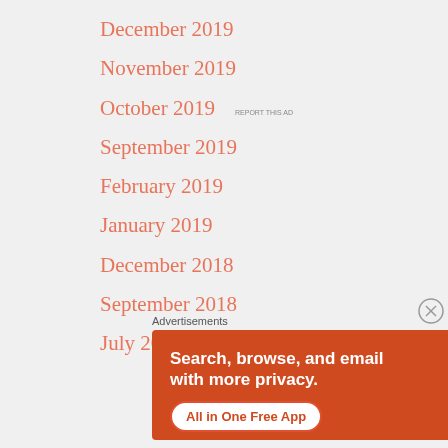December 2019
November 2019
October 2019
September 2019
February 2019
January 2019
December 2018
September 2018
July 2018
Advertisements
[Figure (photo): DuckDuckGo advertisement banner showing a phone with DuckDuckGo app. Text reads: Search, browse, and email with more privacy. All in One Free App.]